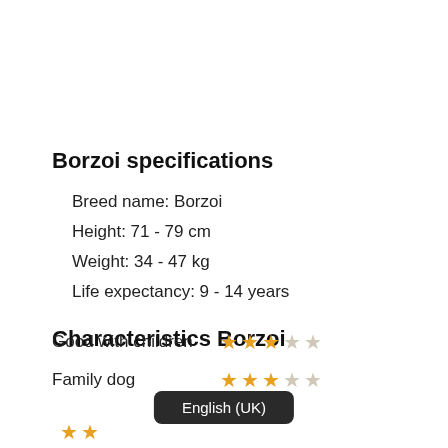Borzoi specifications
Breed name: Borzoi
Height: 71 - 79 cm
Weight: 34 - 47 kg
Life expectancy: 9 - 14 years
Characteristics Borzoi
Family dog  ★★★☆☆ (3 out of 5 stars)
Good with children  ★★★☆☆ (3 out of 5 stars)
English (UK)